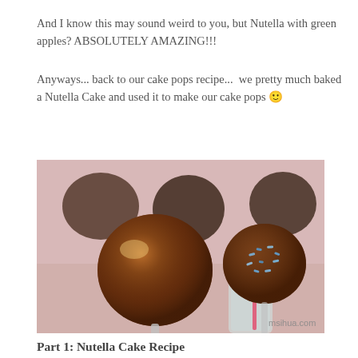And I know this may sound weird to you, but Nutella with green apples? ABSOLUTELY AMAZING!!!
Anyways... back to our cake pops recipe...  we pretty much baked a Nutella Cake and used it to make our cake pops 🙂
[Figure (photo): Close-up photo of chocolate Nutella cake pops on sticks, some plain dark chocolate, one with blue sprinkles, set against a pink background. Watermark reads msihua.com.]
Part 1: Nutella Cake Recipe